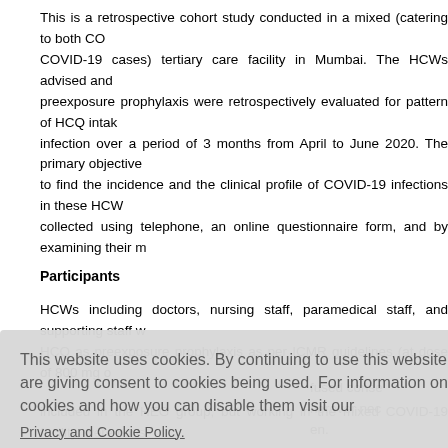This is a retrospective cohort study conducted in a mixed (catering to both CO... COVID-19 cases) tertiary care facility in Mumbai. The HCWs advised and preexposure prophylaxis were retrospectively evaluated for pattern of HCQ intak infection over a period of 3 months from April to June 2020. The primary objective to find the incidence and the clinical profile of COVID-19 infections in these HCW collected using telephone, an online questionnaire form, and by examining their m
Participants
HCWs including doctors, nursing staff, paramedical staff, and supporting staff w HCQ as preexposure prophylaxis as per ICMR guidelines (at dose of 800 mg o ...fused conse ...nerever nec ...en.
...on their exp ...s of COVID- ...care unit [ ...in COVID-1 ...e helpers, a ...e group (H included in the HEG group, but working in the mixed COVID-19 facility, were cons
[Figure (screenshot): Cookie consent overlay banner with text 'This website uses cookies. By continuing to use this website you are giving consent to cookies being used. For information on cookies and how you can disable them visit our Privacy and Cookie Policy.' and a red 'AGREE & PROCEED' button.]